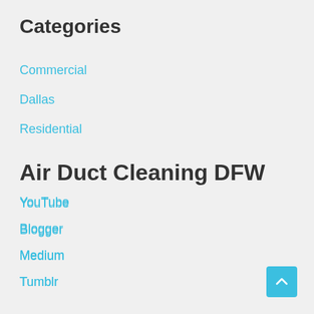Categories
Commercial
Dallas
Residential
Air Duct Cleaning DFW
YouTube
Blogger
Medium
Tumblr
Diigo
Weebly